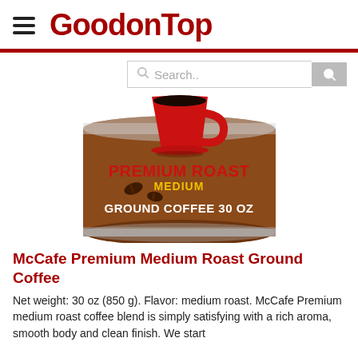GoodonTop
[Figure (screenshot): Search bar with magnifying glass icon on the right, placeholder text 'Search..']
[Figure (photo): McCafe Premium Roast Medium Ground Coffee 30 oz can with red mug of coffee on brown background. Text on can: PREMIUM ROAST MEDIUM GROUND COFFEE 30 OZ]
McCafe Premium Medium Roast Ground Coffee
Net weight: 30 oz (850 g). Flavor: medium roast. McCafe Premium medium roast coffee blend is simply satisfying with a rich aroma, smooth body and clean finish. We start